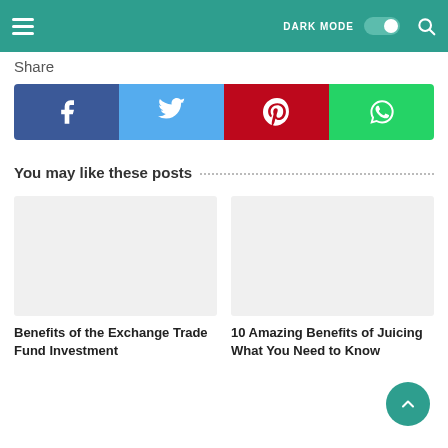Navigation bar with hamburger menu, DARK MODE toggle, and search icon
Share
[Figure (infographic): Social sharing buttons row: Facebook (blue), Twitter (light blue), Pinterest (red), WhatsApp (green), each with white icon]
You may like these posts
Benefits of the Exchange Trade Fund Investment
10 Amazing Benefits of Juicing What You Need to Know